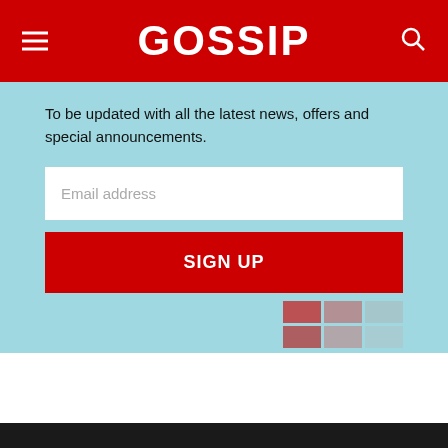GOSSIP
To be updated with all the latest news, offers and special announcements.
Email address
SIGN UP
LATEST
THINGS YOU SHOULD KNOW ABOUT SUSENJI NANA
HOW TO USE THE COLOR TAUPE IN YOUR HOME